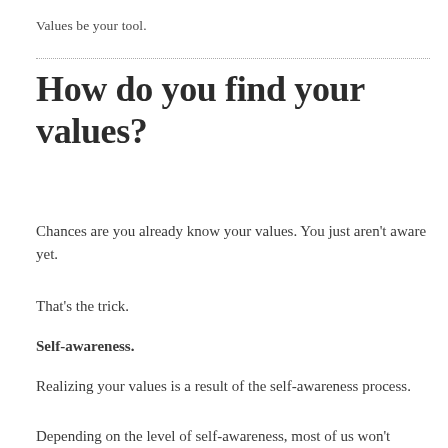Values be your tool.
How do you find your values?
Chances are you already know your values. You just aren't aware yet.
That's the trick.
Self-awareness.
Realizing your values is a result of the self-awareness process.
Depending on the level of self-awareness, most of us won't